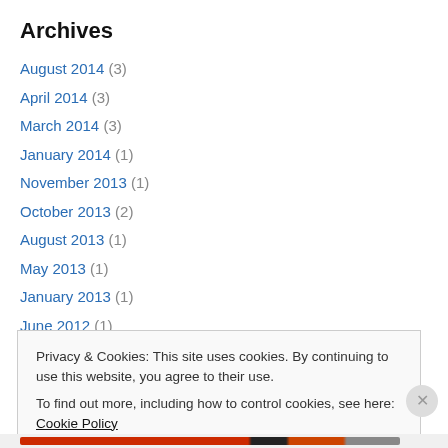Archives
August 2014 (3)
April 2014 (3)
March 2014 (3)
January 2014 (1)
November 2013 (1)
October 2013 (2)
August 2013 (1)
May 2013 (1)
January 2013 (1)
June 2012 (1)
March 2012 (1)
Privacy & Cookies: This site uses cookies. By continuing to use this website, you agree to their use.
To find out more, including how to control cookies, see here: Cookie Policy
Close and accept